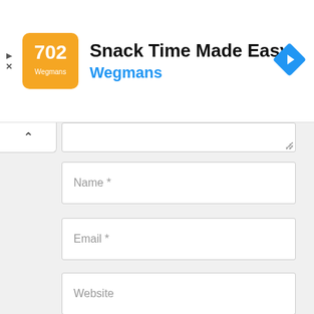[Figure (screenshot): Advertisement banner for Wegmans app — orange logo icon, title 'Snack Time Made Easy', subtitle 'Wegmans', blue navigation diamond icon, and ad close controls (play/x icons) on the left.]
[Figure (screenshot): Web comment form with partial textarea at top, input fields for Name*, Email*, and Website, a checkbox for 'Save my name, email, and website in this browser for the next time I comment.', and a POST COMMENT button.]